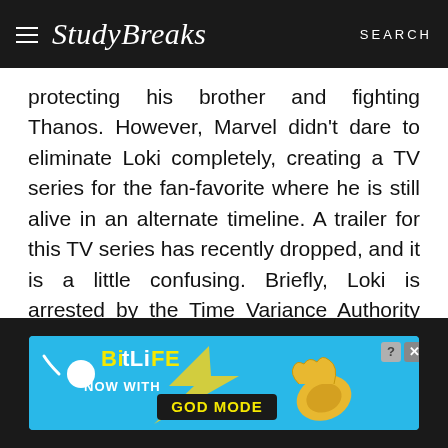StudyBreaks  SEARCH
protecting his brother and fighting Thanos. However, Marvel didn't dare to eliminate Loki completely, creating a TV series for the fan-favorite where he is still alive in an alternate timeline. A trailer for this TV series has recently dropped, and it is a little confusing. Briefly, Loki is arrested by the Time Variance Authority (TVA) for disrupting the timeline and as a form of community service has to work as an enforcement officer for them.
[Figure (infographic): BitLife advertisement banner: 'NOW WITH GOD MODE' with a pointing hand graphic and close/help buttons]